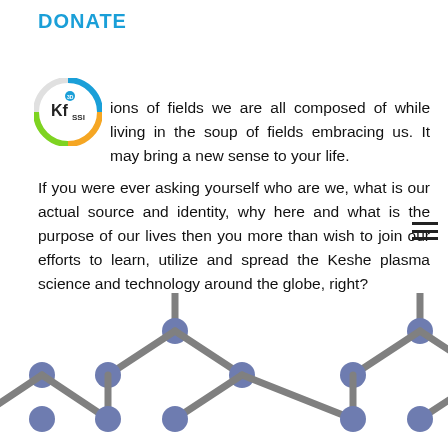DONATE
[Figure (logo): Keshe Foundation SSI logo — circular with colorful ring, 'Kf' letters prominent, 'SSI' below]
ions of fields we are all composed of while living in the soup of fields embracing us. It may bring a new sense to your life. If you were ever asking yourself who are we, what is our actual source and identity, why here and what is the purpose of our lives then you more than wish to join our efforts to learn, utilize and spread the Keshe plasma science and technology around the globe, right?
Who does not want to advance and find out more?
Who does not want to discover more?
Who wants to live meaningless life?
Who does not want the prosperity and better life?
[Figure (illustration): Molecular lattice structure diagram showing hexagonal arrangement of dark blue/purple spheres connected by grey rods, resembling graphene or similar crystal structure, cropped at bottom of page]